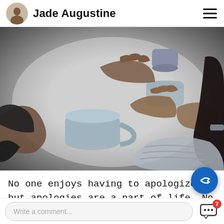Jade Augustine
[Figure (photo): Overhead view of people sitting at a table with grey/white mugs, hands gesturing in conversation. Dark, moody, black and white tones.]
No one enjoys having to apologize, but apologies are a part of life. No one is perfect all the time. Ther  ill